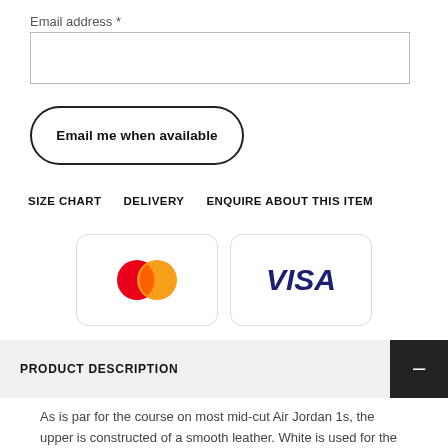Email address *
Email me when available
SIZE CHART   DELIVERY   ENQUIRE ABOUT THIS ITEM
[Figure (logo): Mastercard logo with overlapping red and orange circles]
[Figure (logo): VISA logo in blue text on white background]
PRODUCT DESCRIPTION
As is par for the course on most mid-cut Air Jordan 1s, the upper is constructed of a smooth leather. White is used for the toebox and quarter panels, while the “Incredible Hulk” shades take up residence